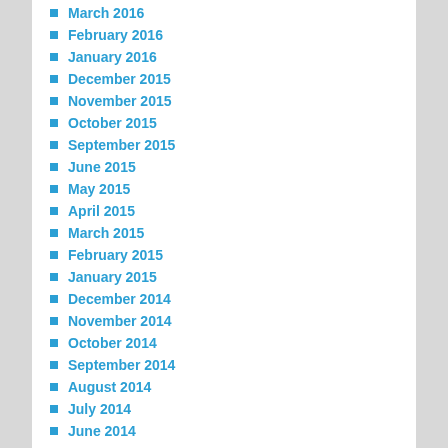March 2016
February 2016
January 2016
December 2015
November 2015
October 2015
September 2015
June 2015
May 2015
April 2015
March 2015
February 2015
January 2015
December 2014
November 2014
October 2014
September 2014
August 2014
July 2014
June 2014
May 2014
April 2014